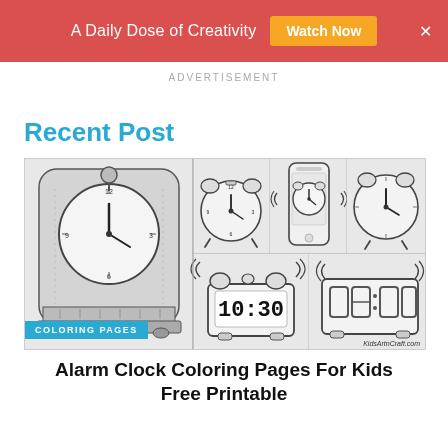A Daily Dose of Creativity  Watch Now  ×
ADVERTISEMENT
Recent Post
[Figure (illustration): Coloring page collage showing various alarm clocks: a large vintage mantel clock, a classic twin-bell alarm clock, a smartphone displaying a clock alarm, a simple round alarm clock, a digital alarm clock showing 10:30, and a digital clock showing 08:00, all in black-and-white line art on grey background. Tag reads COLORING PAGES. Watermark KidsArtnCraft.com]
Alarm Clock Coloring Pages For Kids Free Printable